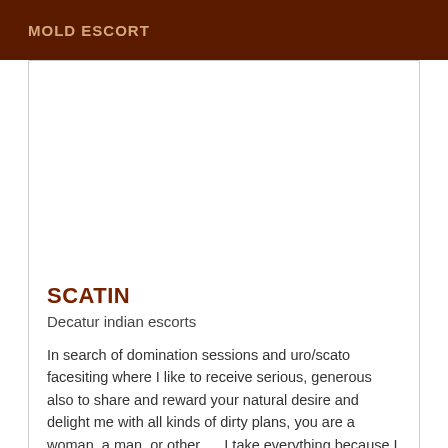MOLD ESCORT
SCATIN
Decatur indian escorts
In search of domination sessions and uro/scato facesiting where I like to receive serious, generous also to share and reward your natural desire and delight me with all kinds of dirty plans, you are a woman, a man, or other ..., I take everything because I love it!
VIP